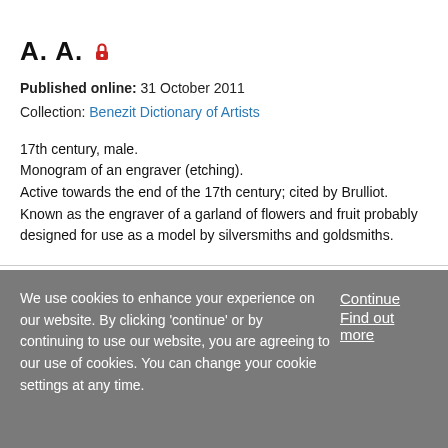Article
A. A.
Published online: 31 October 2011
Collection: Benezit Dictionary of Artists
17th century, male.
Monogram of an engraver (etching).
Active towards the end of the 17th century; cited by Brulliot. Known as the engraver of a garland of flowers and fruit probably designed for use as a model by silversmiths and goldsmiths.
We use cookies to enhance your experience on our website. By clicking 'continue' or by continuing to use our website, you are agreeing to our use of cookies. You can change your cookie settings at any time.
Continue
Find out more